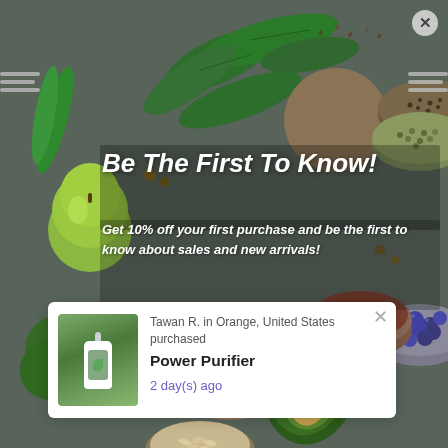[Figure (photo): Background photo of healthy foods including spinach leaves, avocado, blueberries, seeds in bowls, broccoli, green apple, and nuts on a dark surface]
Be The First To Know!
Get 10% off your first purchase and be the first to know about sales and new arrivals!
Enter your email Address
Tawan R. in Orange, United States purchased Power Purifier 2 day(s) ago